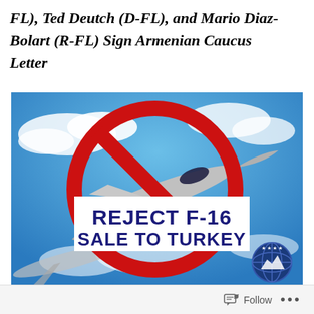FL), Ted Deutch (D-FL), and Mario Diaz-Balart (R-FL) Sign Armenian Caucus Letter
[Figure (illustration): F-16 fighter jet with a red prohibition circle-and-bar symbol overlaid, with a white banner in the center reading 'REJECT F-16 SALE TO TURKEY' in bold dark blue text. A globe/mountain logo appears at bottom right.]
Follow •••